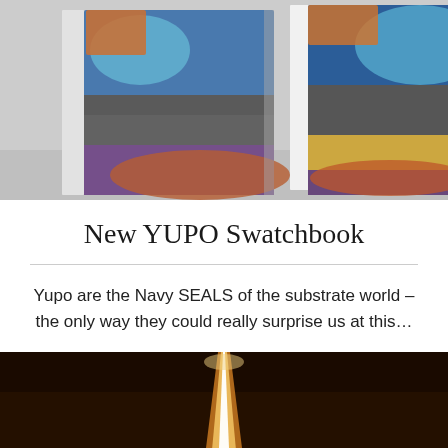[Figure (photo): Two YUPO swatchbook products photographed together on a light surface, showing colorful covers with blue, orange, purple and brown tones. The books appear to be design/printing material swatch books.]
New YUPO Swatchbook
Yupo are the Navy SEALS of the substrate world – the only way they could really surprise us at this…
[Figure (photo): Dark background image with a bright vertical beam of light in the center, resembling a spotlight or light source shining upward.]